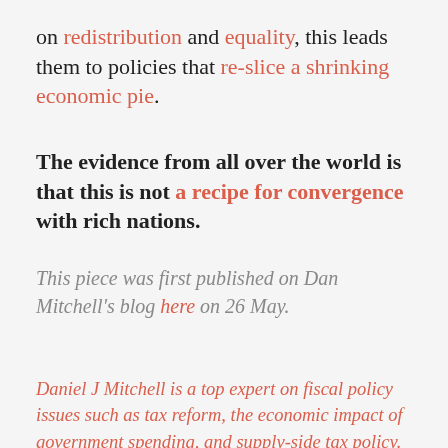on redistribution and equality, this leads them to policies that re-slice a shrinking economic pie.
The evidence from all over the world is that this is not a recipe for convergence with rich nations.
This piece was first published on Dan Mitchell's blog here on 26 May.
Daniel J Mitchell is a top expert on fiscal policy issues such as tax reform, the economic impact of government spending, and supply-side tax policy. Prior to joining Cato, he was a senior fellow with The Heritage Foundation, and an economist for Senator Bob Packwood and the Senate Finance Committee. His articles can be found in such publications as the Wall Street Journal, New York Times, Investor's Business